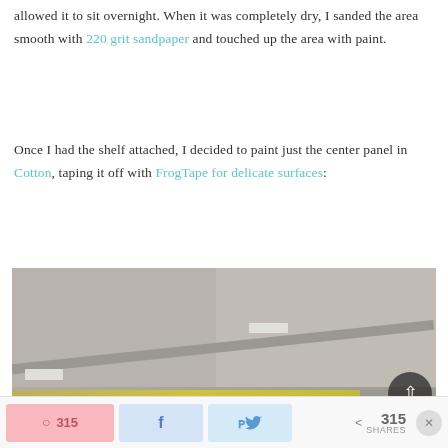allowed it to sit overnight. When it was completely dry, I sanded the area smooth with 220 grit sandpaper and touched up the area with paint.
Once I had the shelf attached, I decided to paint just the center panel in Cotton, taping it off with FrogTape for delicate surfaces:
[Figure (photo): A close-up photo of a furniture piece being painted and taped off. Visible are gray painted panels, white masking/frog tape strips on the edges, a yellow stripe at the bottom edge, and a dark circular back-to-top button in the lower right corner.]
315  [Pinterest share]  [Facebook share]  [Twitter share]  < 315 SHARES  X